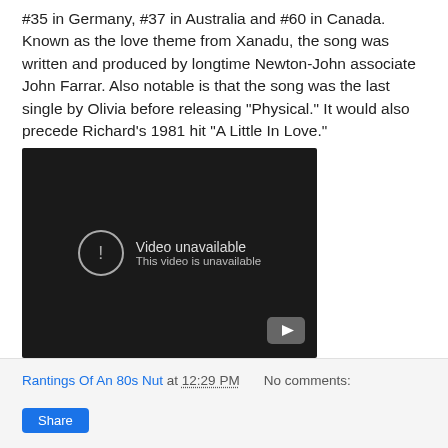#35 in Germany, #37 in Australia and #60 in Canada. Known as the love theme from Xanadu, the song was written and produced by longtime Newton-John associate John Farrar. Also notable is that the song was the last single by Olivia before releasing "Physical." It would also precede Richard's 1981 hit "A Little In Love."
[Figure (screenshot): YouTube video player showing 'Video unavailable / This video is unavailable' message on a dark background with YouTube logo in bottom right corner.]
Rantings Of An 80s Nut at 12:29 PM   No comments:
Share